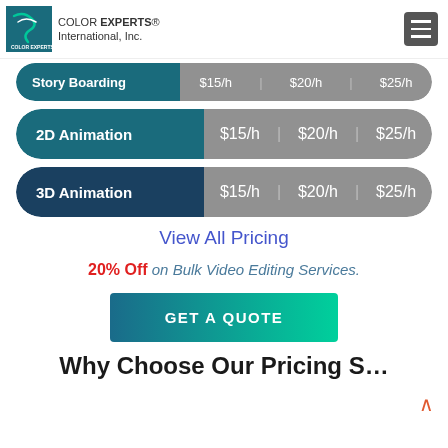Color Experts International, Inc.
| Service | Price 1 | Price 2 | Price 3 |
| --- | --- | --- | --- |
| Story Boarding | $15/h | $20/h | $25/h |
| 2D Animation | $15/h | $20/h | $25/h |
| 3D Animation | $15/h | $20/h | $25/h |
View All Pricing
20% Off on Bulk Video Editing Services.
GET A QUOTE
Why Choose Our Pricing S...